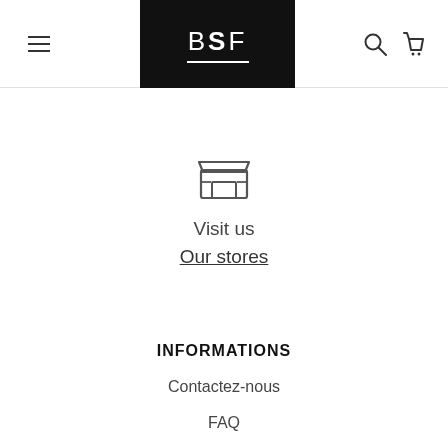BSF — navigation header with menu icon, logo, search and cart icons
[Figure (illustration): Store/shop front icon — a simple outlined storefront with awning and shelf]
Visit us
Our stores
INFORMATIONS
Contactez-nous
FAQ